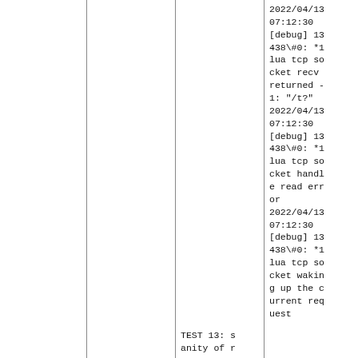|  |  |  | 2022/04/13 07:12:30 [debug] 13438\#0: *1 lua tcp socket recv returned -1: "/t?" |
|  |  |  | 2022/04/13 07:12:30 [debug] 13438\#0: *1 lua tcp socket handle read error |
|  |  | TEST 13: s anity of r | 2022/04/13 07:12:30 [debug] 13438\#0: *1 lua tcp socket waking up the current req uest |